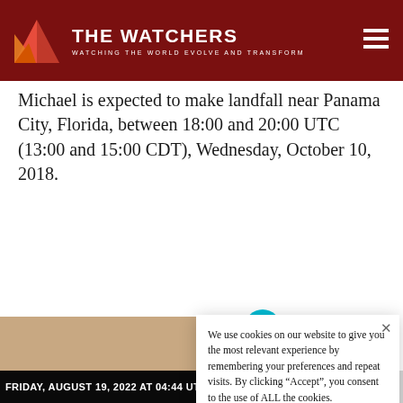THE WATCHERS — WATCHING THE WORLD EVOLVE AND TRANSFORM
Michael is expected to make landfall near Panama City, Florida, between 18:00 and 20:00 UTC (13:00 and 15:00 CDT), Wednesday, October 10, 2018.
[Figure (photo): Advertisement photo showing kitchen/food items with overlay text '37 HOME ITEMS SH...']
We use cookies on our website to give you the most relevant experience by remembering your preferences and repeat visits. By clicking “Accept”, you consent to the use of ALL the cookies.
Do not sell my personal information.
FRIDAY, AUGUST 19, 2022 AT 04:44 UTC